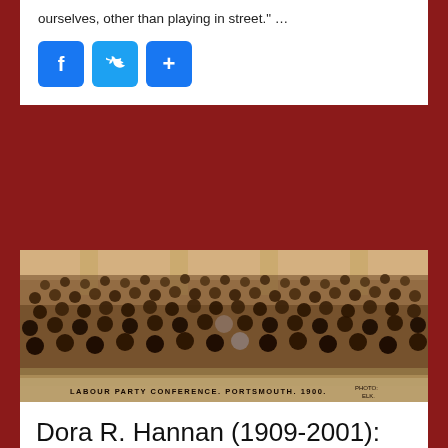ourselves, other than playing in street." …
[Figure (other): Social sharing buttons: Facebook (f), Twitter (bird icon), and a share (+) button, all in blue with rounded corners]
[Figure (photo): Sepia-tone historical group photograph of a large crowd of people posing in front of a columned building. Caption at bottom reads: LABOUR PARTY CONFERENCE. PORTSMOUTH. 1900. Photo credit: ELK.]
Dora R. Hannan (1909-2001): Purpose and Audience